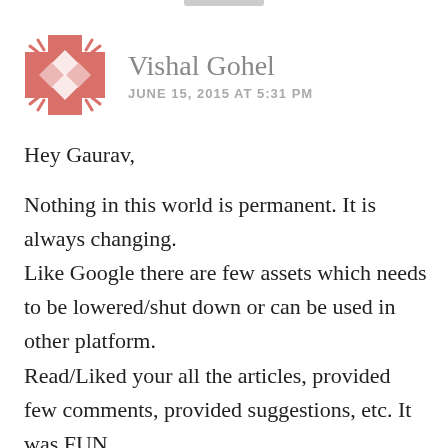[Figure (illustration): Decorative avatar icon: a salmon/pink cross-shaped emblem with diamond patterns and corner flourishes, resembling a social media avatar placeholder.]
Vishal Gohel
JUNE 15, 2015 AT 5:31 PM
Hey Gaurav,

Nothing in this world is permanent. It is always changing.
Like Google there are few assets which needs to be lowered/shut down or can be used in other platform.
Read/Liked your all the articles, provided few comments, provided suggestions, etc. It was FUN.